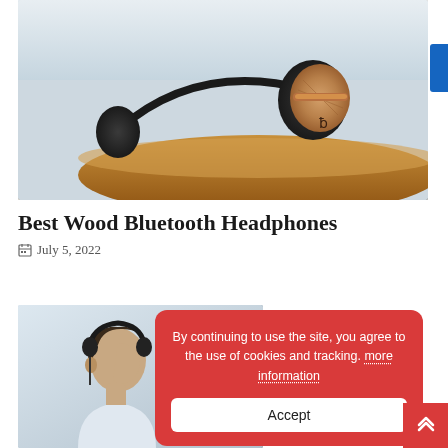[Figure (photo): Photo of wood bluetooth headphones lying flat on a wooden surface with a light background]
Best Wood Bluetooth Headphones
July 5, 2022
[Figure (photo): Photo of a man wearing bluetooth headphones, side profile view]
By continuing to use the site, you agree to the use of cookies and tracking. more information
Accept